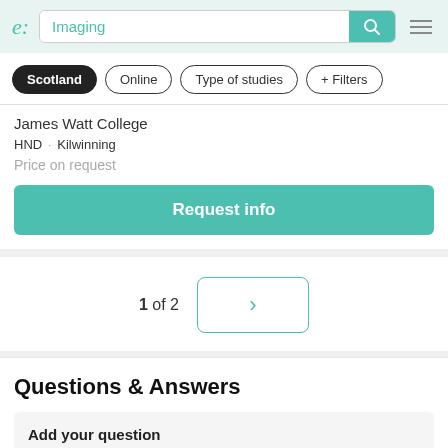e: [logo] | Search: Imaging | [search button] | [hamburger menu]
Scotland
Online
Type of studies
+ Filters
James Watt College
HND · Kilwinning
Price on request
Request info
1 of 2
Questions & Answers
Add your question